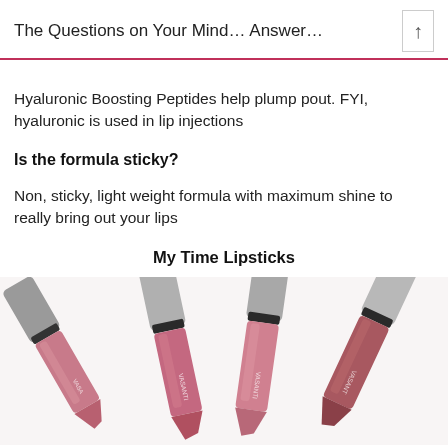The Questions on Your Mind… Answer…
Hyaluronic Boosting Peptides help plump pout. FYI, hyaluronic is used in lip injections
Is the formula sticky?
Non, sticky, light weight formula with maximum shine to really bring out your lips
My Time Lipsticks
[Figure (photo): Four Vasanti brand lipsticks fanned out showing pink and rose shades with silver metallic casings, photographed from above on a white background.]